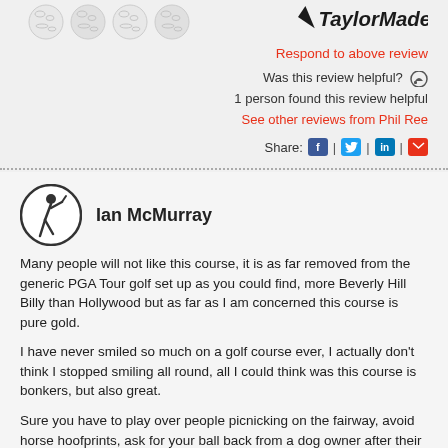[Figure (illustration): Four golf balls with TaylorMade branding in a row]
[Figure (logo): TaylorMade logo]
Respond to above review
Was this review helpful? 👍
1 person found this review helpful
See other reviews from Phil Ree
Share:
[Figure (illustration): Golfer silhouette avatar icon for Ian McMurray]
Ian McMurray
Many people will not like this course, it is as far removed from the generic PGA Tour golf set up as you could find, more Beverly Hill Billy than Hollywood but as far as I am concerned this course is pure gold.
I have never smiled so much on a golf course ever, I actually don't think I stopped smiling all round, all I could think was this course is bonkers, but also great.
Sure you have to play over people picnicking on the fairway, avoid horse hoofprints, ask for your ball back from a dog owner after their dog picked up your ball (actually happened), drive over regularly used roads, play on less than perfect greens, but the course is pure, unique, enjoyable, playful but sporting.